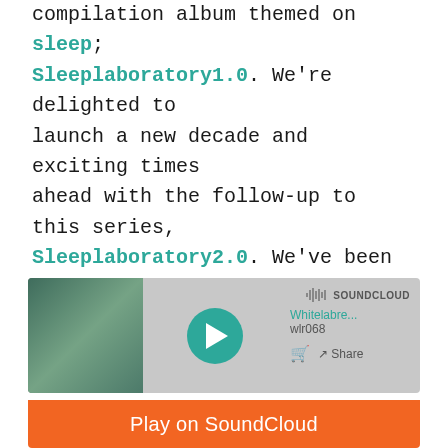We started the year with a special compilation album themed on sleep; Sleeplaboratory1.0. We're delighted to launch a new decade and exciting times ahead with the follow-up to this series, Sleeplaboratory2.0. We've been working behind the scenes on this one since last summer and we're proud of the results in an album which features established artists within the scene, alongside label familiar favourites.
[Figure (screenshot): SoundCloud embedded player showing Whitelabre... wlr068 track with teal album artwork, play button, cart icon, Share button, SoundCloud logo, and orange Play on SoundCloud button]